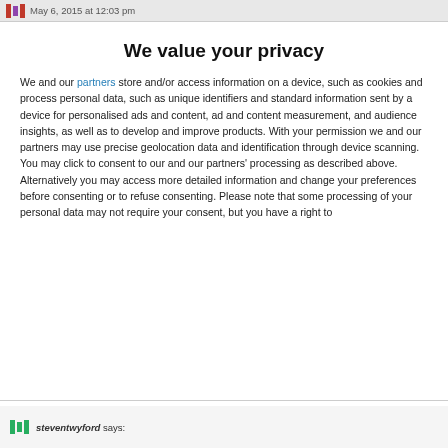May 6, 2015 at 12:03 pm
We value your privacy
We and our partners store and/or access information on a device, such as cookies and process personal data, such as unique identifiers and standard information sent by a device for personalised ads and content, ad and content measurement, and audience insights, as well as to develop and improve products. With your permission we and our partners may use precise geolocation data and identification through device scanning. You may click to consent to our and our partners' processing as described above. Alternatively you may access more detailed information and change your preferences before consenting or to refuse consenting. Please note that some processing of your personal data may not require your consent, but you have a right to
AGREE
MORE OPTIONS
steventwyford says: